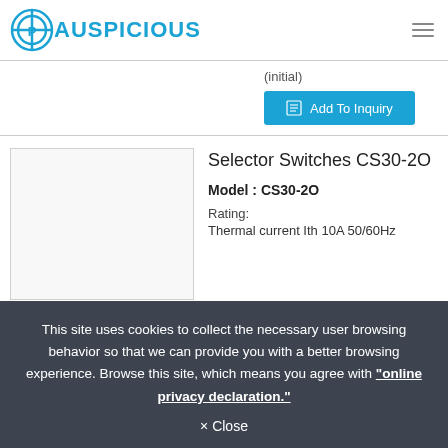AUSPICIOUS
(initial)
Add To Inquiry
Selector Switches CS30-2O
Model : CS30-2O
Rating:
Thermal current Ith 10A 50/60Hz
This site uses cookies to collect the necessary user browsing behavior so that we can provide you with a better browsing experience. Browse this site, which means you agree with "online privacy declaration."
× Close